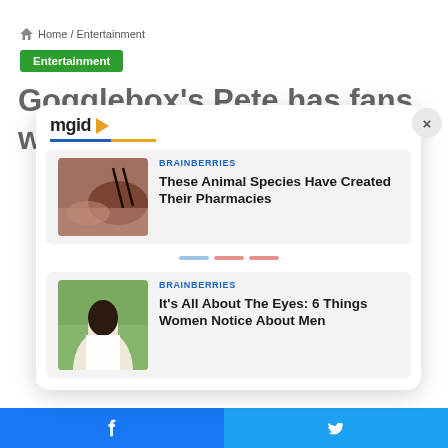Home / Entertainment
Entertainment
Gogglebox's Pete has fans worried as he reveals a
[Figure (screenshot): MGID sponsored content widget overlay with close button (×), showing two Brainberries article cards: 1) 'These Animal Species Have Created Their Pharmacies' with a photo of what appears to be an insect on skin, 2) 'It’s All About The Eyes: 6 Things Women Notice About Men' with a photo of a woman with long dark hair outdoors. Progress dots (blue, red, red) shown between cards.]
[Figure (screenshot): Bottom social sharing bar with Facebook (blue) and Twitter (light blue) icons]